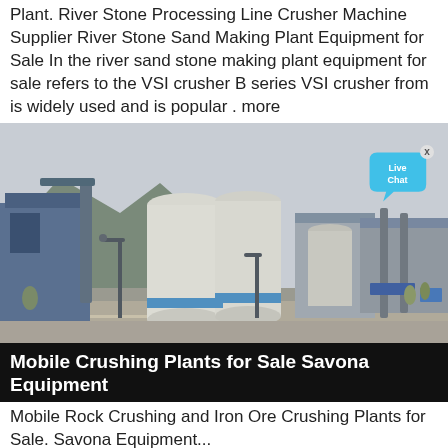Plant. River Stone Processing Line Crusher Machine Supplier River Stone Sand Making Plant Equipment for Sale In the river sand stone making plant equipment for sale refers to the VSI crusher B series VSI crusher from is widely used and is popular . more
[Figure (photo): Industrial crushing/processing plant facility with large white cylindrical silos and blue industrial buildings, mountains in background, street lamp visible, overcast sky. A 'Live Chat' speech bubble overlay in cyan/blue appears in the upper right corner.]
Mobile Crushing Plants for Sale Savona Equipment
Mobile Rock Crushing and Iron Ore Crushing Plants for Sale. Savona Equipment...